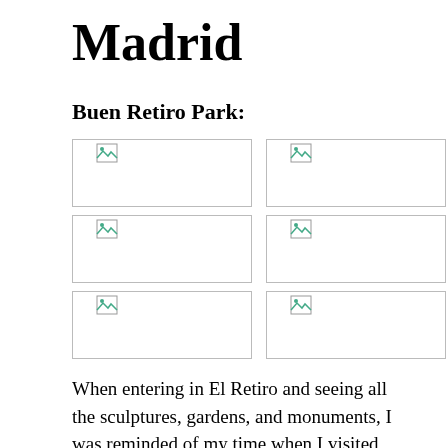Madrid
Buen Retiro Park:
[Figure (photo): Six broken/missing image placeholders arranged in a 2-column, 3-row grid, representing photos of Buen Retiro Park]
When entering in El Retiro and seeing all the sculptures, gardens, and monuments, I was reminded of my time when I visited Central Park in New York. A chunk of greenery surrounded in a busy and bustling city with